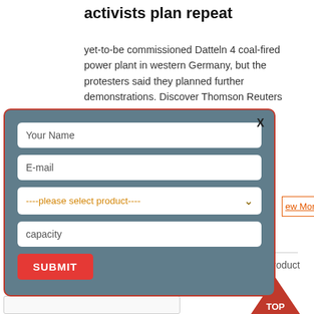activists plan repeat
yet-to-be commissioned Datteln 4 coal-fired power plant in western Germany, but the protesters said they planned further demonstrations. Discover Thomson Reuters plant's boilers, e site. Rwanda F loan to tackle
[Figure (screenshot): A modal popup form with fields for Your Name, E-mail, a product selector dropdown (----please select product----), capacity, and a red SUBMIT button. The modal has a steel-blue background with a red border and an X close button.]
ew More
Product
TOP